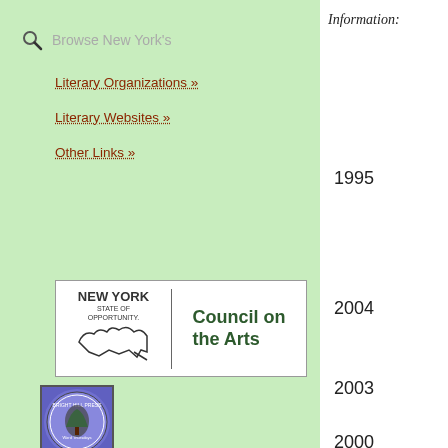Browse New York's
Literary Organizations »
Literary Websites »
Other Links »
[Figure (logo): New York State of Opportunity Council on the Arts logo]
[Figure (logo): Bright Hill Press circular logo with tree image and text]
BRIGHT HILL PRESS
Information:
1995
2004
2003
2000